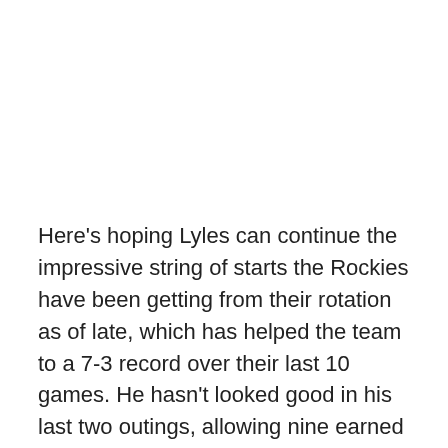Here's hoping Lyles can continue the impressive string of starts the Rockies have been getting from their rotation as of late, which has helped the team to a 7-3 record over their last 10 games. He hasn't looked good in his last two outings, allowing nine earned runs through ten innings, but the Phillies should serve as a nice opponent to work against in order to get back on track. Mired in the basement of the NL East, the 19-32 Phillies are hitting a near league-worst .237.
The Rockies, who are hitting .266 and near the top of